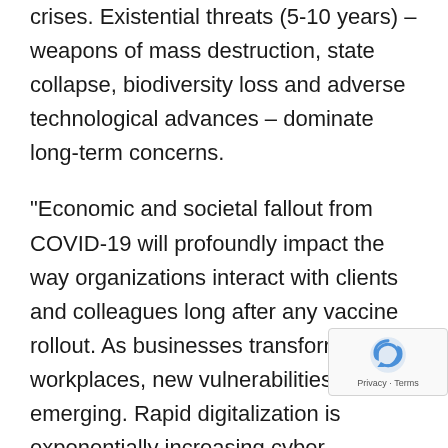crises. Existential threats (5-10 years) – weapons of mass destruction, state collapse, biodiversity loss and adverse technological advances – dominate long-term concerns.
"Economic and societal fallout from COVID-19 will profoundly impact the way organizations interact with clients and colleagues long after any vaccine rollout. As businesses transform their workplaces, new vulnerabilities are emerging. Rapid digitalization is exponentially increasing cyber exposures, supply chain disruption is radically altering business models, and a rise in serious health issues has accompanied employees' shift to remote working," said Carolin... Risk Management Leader, Continental Europe, M... "Every business will need to strengthen and constantly